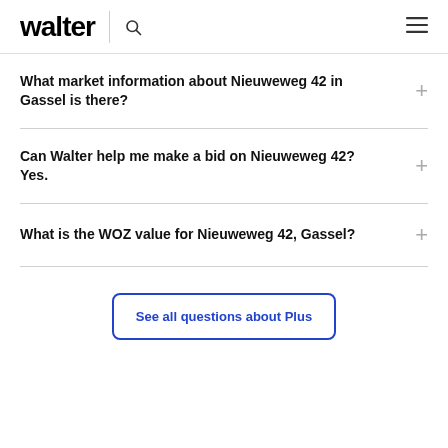walter
What market information about Nieuweweg 42 in Gassel is there?
Can Walter help me make a bid on Nieuweweg 42? Yes.
What is the WOZ value for Nieuweweg 42, Gassel?
See all questions about Plus